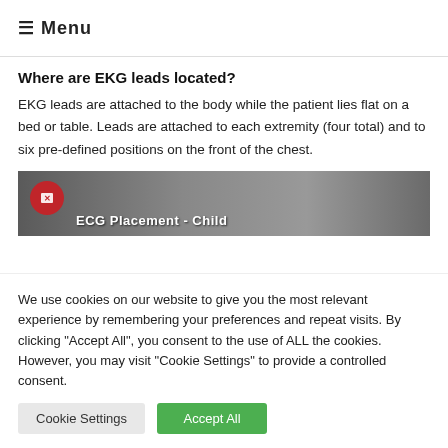≡ Menu
Where are EKG leads located?
EKG leads are attached to the body while the patient lies flat on a bed or table. Leads are attached to each extremity (four total) and to six pre-defined positions on the front of the chest.
[Figure (screenshot): Video thumbnail showing ECG Placement - Child, with a red circle logo on the left and a person in the background]
We use cookies on our website to give you the most relevant experience by remembering your preferences and repeat visits. By clicking "Accept All", you consent to the use of ALL the cookies. However, you may visit "Cookie Settings" to provide a controlled consent.
Cookie Settings | Accept All